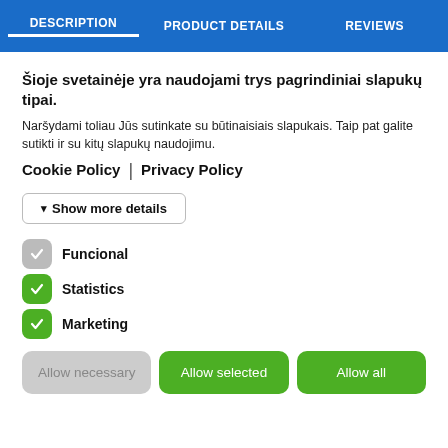DESCRIPTION | PRODUCT DETAILS | REVIEWS
Šioje svetainėje yra naudojami trys pagrindiniai slapukų tipai.
Naršydami toliau Jūs sutinkate su būtinaisiais slapukais. Taip pat galite sutikti ir su kitų slapukų naudojimu.
Cookie Policy | Privacy Policy
▾ Show more details
Funcional
Statistics
Marketing
Allow necessary | Allow selected | Allow all